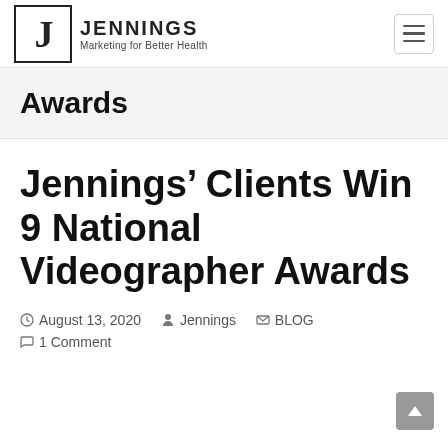JENNINGS Marketing for Better Health
Awards
Jennings' Clients Win 9 National Videographer Awards
August 13, 2020  Jennings  BLOG  1 Comment